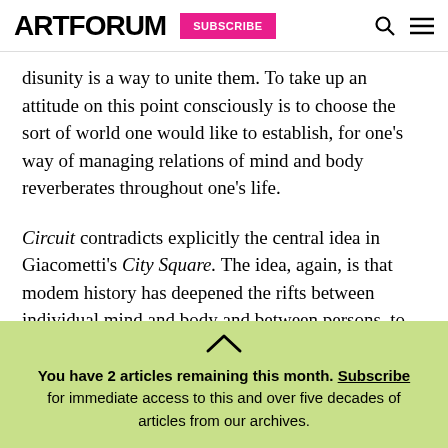ARTFORUM | SUBSCRIBE
disunity is a way to unite them. To take up an attitude on this point consciously is to choose the sort of world one would like to establish, for one's way of managing relations of mind and body reverberates throughout one's life.
Circuit contradicts explicitly the central idea in Giacometti's City Square. The idea, again, is that modem history has deepened the rifts between individual mind and body and between persons, to
You have 2 articles remaining this month. Subscribe for immediate access to this and over five decades of articles from our archives.